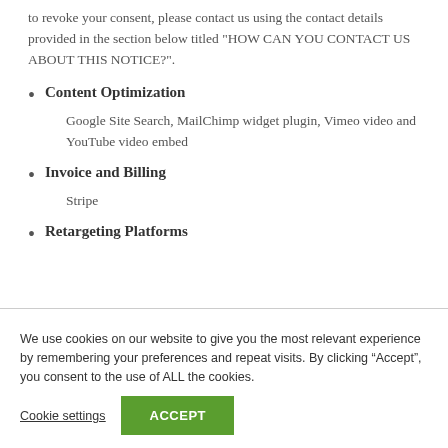to revoke your consent, please contact us using the contact details provided in the section below titled “HOW CAN YOU CONTACT US ABOUT THIS NOTICE?”.
Content Optimization
Google Site Search, MailChimp widget plugin, Vimeo video and YouTube video embed
Invoice and Billing
Stripe
Retargeting Platforms
We use cookies on our website to give you the most relevant experience by remembering your preferences and repeat visits. By clicking “Accept”, you consent to the use of ALL the cookies.
Cookie settings
ACCEPT